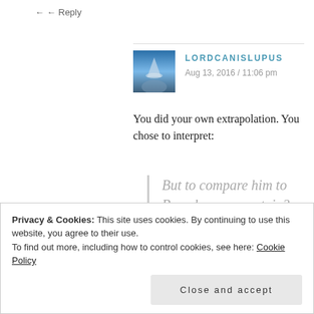← Reply
LORDCANISLUPUS
Aug 13, 2016 / 11:06 pm
You did your own extrapolation. You chose to interpret:
But to compare him to Brearley as a captain? They seriously must be
Privacy & Cookies: This site uses cookies. By continuing to use this website, you agree to their use.
To find out more, including how to control cookies, see here: Cookie Policy
Close and accept
would be nonsense, because they did